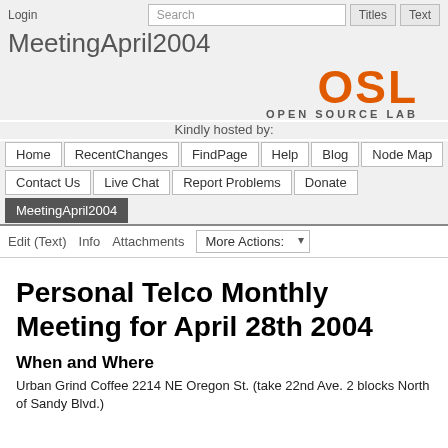Login
MeetingApril2004
[Figure (logo): OSL Open Source Lab orange logo with text OPEN SOURCE LAB]
Kindly hosted by:
Home | RecentChanges | FindPage | Help | Blog | Node Map | Contact Us | Live Chat | Report Problems | Donate
MeetingApril2004
Edit (Text)  Info  Attachments  More Actions:
Personal Telco Monthly Meeting for April 28th 2004
When and Where
Urban Grind Coffee 2214 NE Oregon St. (take 22nd Ave. 2 blocks North of Sandy Blvd.)